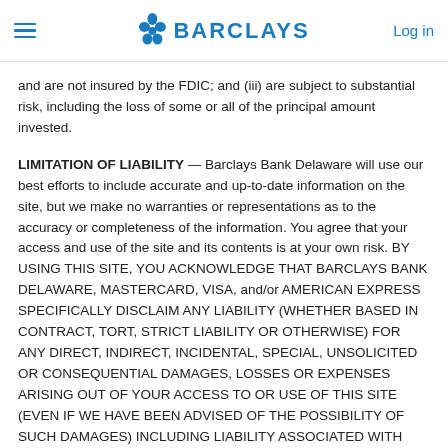☰  BARCLAYS  Log in
and are not insured by the FDIC; and (iii) are subject to substantial risk, including the loss of some or all of the principal amount invested.
LIMITATION OF LIABILITY — Barclays Bank Delaware will use our best efforts to include accurate and up-to-date information on the site, but we make no warranties or representations as to the accuracy or completeness of the information. You agree that your access and use of the site and its contents is at your own risk. BY USING THIS SITE, YOU ACKNOWLEDGE THAT BARCLAYS BANK DELAWARE, MASTERCARD, VISA, and/or AMERICAN EXPRESS SPECIFICALLY DISCLAIM ANY LIABILITY (WHETHER BASED IN CONTRACT, TORT, STRICT LIABILITY OR OTHERWISE) FOR ANY DIRECT, INDIRECT, INCIDENTAL, SPECIAL, UNSOLICITED OR CONSEQUENTIAL DAMAGES, LOSSES OR EXPENSES ARISING OUT OF YOUR ACCESS TO OR USE OF THIS SITE (EVEN IF WE HAVE BEEN ADVISED OF THE POSSIBILITY OF SUCH DAMAGES) INCLUDING LIABILITY ASSOCIATED WITH ANY VIRUSES WHICH MAY IMPACT A USER'S EQUIPMENT.